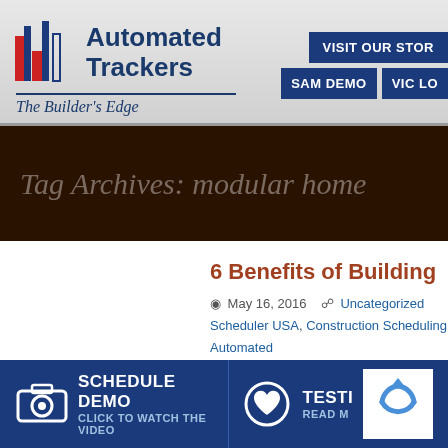[Figure (logo): Automated Trackers logo with red and blue bar chart icon, company name, tagline 'The Builder's Edge', and navigation buttons 'VISIT OUR STORE', 'SAM DEMO', 'VIC LO']
Tag Archives: modular home
6 Benefits of Building
May 16, 2016   Uncategorized  Scheduler USA, Construction Scheduling  Automated
[Figure (infographic): Footer bar with Schedule Demo (click to watch the video) on left, Testimonials (read more) on right, and reCAPTCHA widget]